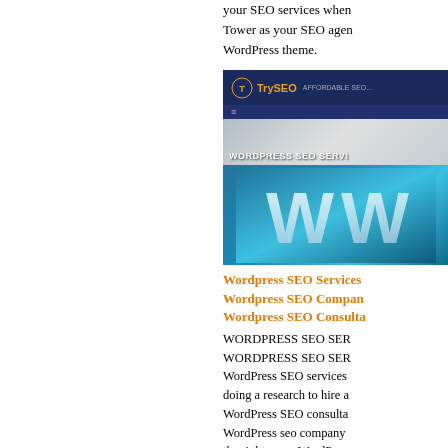your SEO services when Tower as your SEO agen WordPress theme.
[Figure (screenshot): Screenshot of TrySEO website showing 'WORDPRESS SEO SERVI' header text on a gray hero background with dark navy navigation bar]
[Figure (photo): Close-up photo of WordPress logo (blue W letters) made of dimensional/3D letters]
Wordpress SEO Services Wordpress SEO Compan Wordpress SEO Consulta WORDPRESS SEO SER WORDPRESS SEO SER WordPress SEO services doing a research to hire a WordPress SEO consulta WordPress seo company the right page. WordPress most popular CMS that e